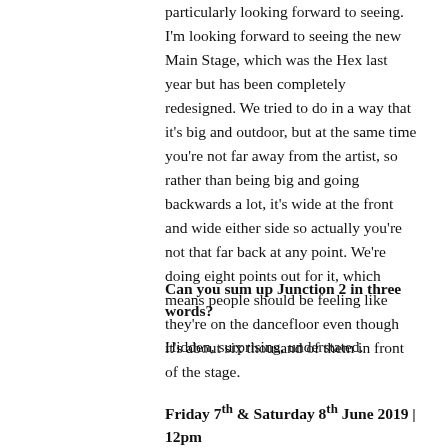particularly looking forward to seeing. I'm looking forward to seeing the new Main Stage, which was the Hex last year but has been completely redesigned. We tried to do in a way that it's big and outdoor, but at the same time you're not far away from the artist, so rather than being big and going backwards a lot, it's wide at the front and wide either side so actually you're not that far back at any point. We're doing eight points out for it, which means people should be feeling like they're on the dancefloor even though it's about six thousand of them in front of the stage.
Can you sum up Junction 2 in three words?
Hidden, surprising, understated.
Friday 7th & Saturday 8th June 2019 | 12pm